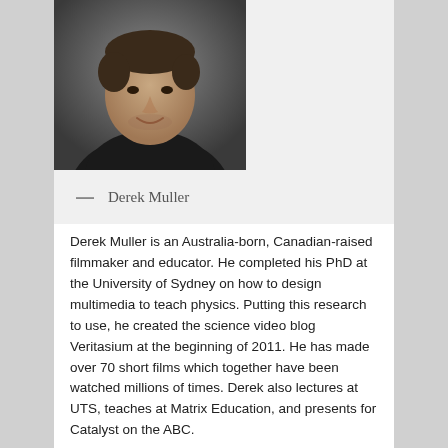[Figure (photo): Black and white portrait photo of Derek Muller, a young man wearing a black shirt, looking at camera with slight smile]
— Derek Muller
Derek Muller is an Australia-born, Canadian-raised filmmaker and educator. He completed his PhD at the University of Sydney on how to design multimedia to teach physics. Putting this research to use, he created the science video blog Veritasium at the beginning of 2011. He has made over 70 short films which together have been watched millions of times. Derek also lectures at UTS, teaches at Matrix Education, and presents for Catalyst on the ABC.
Twitter: @veritasium, Facebook.com/veritasium,